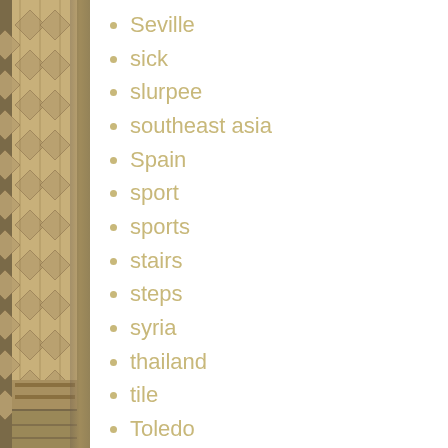[Figure (photo): Side image showing ornate Moorish/Islamic architectural tile and stonework carving on a column or wall, with decorative geometric and floral patterns, in beige/tan tones]
Seville
sick
slurpee
southeast asia
Spain
sport
sports
stairs
steps
syria
thailand
tile
Toledo
tours
travel